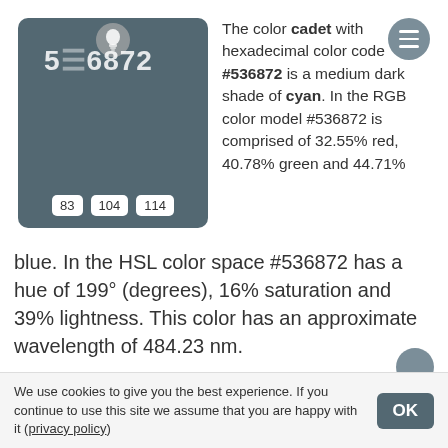[Figure (illustration): Color swatch square showing the cadet color #536872 (medium dark cyan-blue), with a lightbulb icon at top, the hex code '536872' overlaid, and three RGB component badges at the bottom showing 83, 104, 114.]
The color cadet with hexadecimal color code #536872 is a medium dark shade of cyan. In the RGB color model #536872 is comprised of 32.55% red, 40.78% green and 44.71% blue. In the HSL color space #536872 has a hue of 199° (degrees), 16% saturation and 39% lightness. This color has an approximate wavelength of 484.23 nm.
[Figure (illustration): A rounded rectangular button styled in muted blue-grey (#6b8290) with a paintbrush icon and the text 'Buy paint matching this color' in white.]
We use cookies to give you the best experience. If you continue to use this site we assume that you are happy with it (privacy policy)